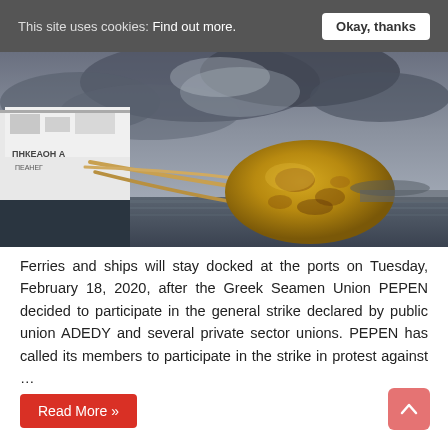This site uses cookies: Find out more.  Okay, thanks
[Figure (photo): A large yellow mooring buoy with ropes, docked ferry ship with Cyrillic text visible on hull, overcast dramatic cloudy sky, harbor/port scene]
Ferries and ships will stay docked at the ports on Tuesday, February 18, 2020, after the Greek Seamen Union PEPEN decided to participate in the general strike declared by public union ADEDY and several private sector unions. PEPEN has called its members to participate in the strike in protest against …